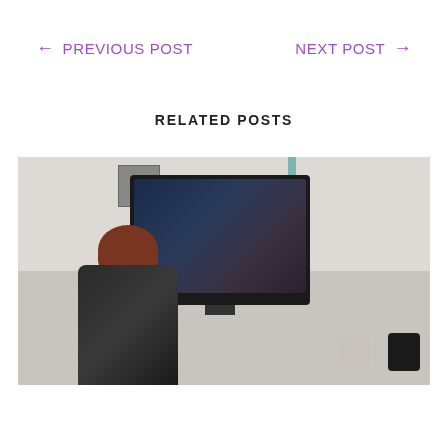← PREVIOUS POST    NEXT POST →
RELATED POSTS
[Figure (photo): A woman with red hair sitting at a desk viewed from behind, working at a computer monitor in a home office setting. The room has white walls, a white cabinet, a teal lamp, a clock, and a speaker on the desk.]